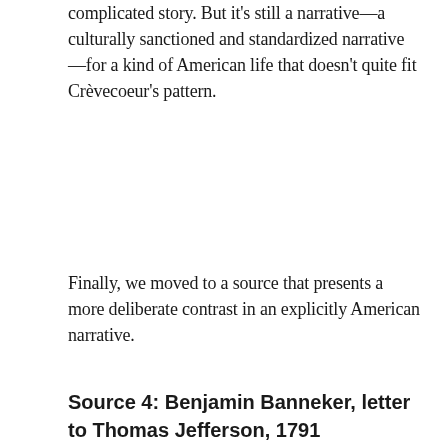complicated story. But it's still a narrative—a culturally sanctioned and standardized narrative—for a kind of American life that doesn't quite fit Crèvecoeur's pattern.
Finally, we moved to a source that presents a more deliberate contrast in an explicitly American narrative.
Source 4: Benjamin Banneker, letter to Thomas Jefferson, 1791
[Figure (photo): A composite image showing a worn copy of Benjamin Banneker's Almanac (Pennsylvania, Delaware, Maryland, and Virginia Almanac for the Year of our Lord 1795) overlaid on a historic blue map of Washington D.C. with a compass rose and geographic annotations.]